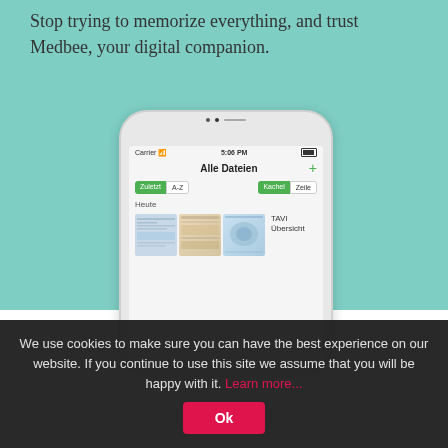Stop trying to memorize everything, and trust Medbee, your digital companion.
[Figure (screenshot): iPhone screenshot showing the Medbee app interface with 'Alle Dateien' screen, filter buttons (Zuletzt, A-Z, Kachel, Zeile), 'Heute' section with file thumbnails and 'TAVI Übersicht' label]
We use cookies to make sure you can have the best experience on our website. If you continue to use this site we assume that you will be happy with it. Learn more... Ok